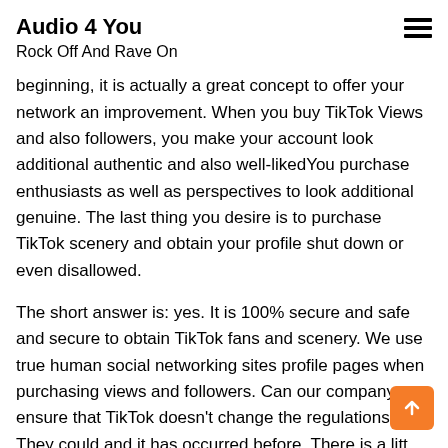Audio 4 You
Rock Off And Rave On
beginning, it is actually a great concept to offer your network an improvement. When you buy TikTok Views and also followers, you make your account look additional authentic and also well-likedYou purchase enthusiasts as well as perspectives to look additional genuine. The last thing you desire is to purchase TikTok scenery and obtain your profile shut down or even disallowed.
The short answer is: yes. It is 100% secure and safe and secure to obtain TikTok fans and scenery. We use true human social networking sites profile pages when purchasing views and followers. Can our company ensure that TikTok doesn't change the regulations? They could and it has occurred before. There is a little of a threat.